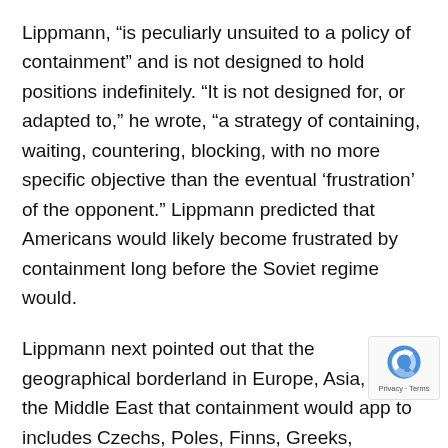Lippmann, “is peculiarly unsuited to a policy of containment” and is not designed to hold positions indefinitely. “It is not designed for, or adapted to,” he wrote, “a strategy of containing, waiting, countering, blocking, with no more specific objective than the eventual ‘frustration’ of the opponent.” Lippmann predicted that Americans would likely become frustrated by containment long before the Soviet regime would.
Lippmann next pointed out that the geographical borderland in Europe, Asia, and the Middle East that containment would app to includes Czechs, Poles, Finns, Greeks,